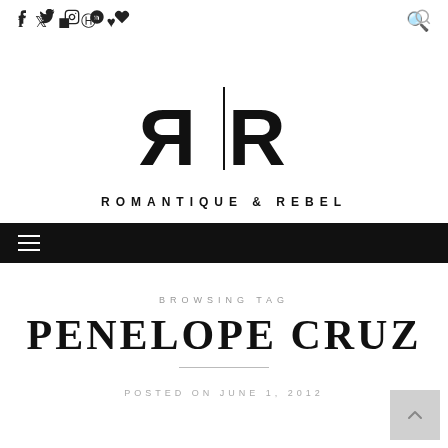f  Twitter  Instagram  Pinterest  Heart  [search icon]
[Figure (logo): Romantique & Rebel logo: mirrored R letterforms with vertical line separator above the text ROMANTIQUE & REBEL]
[Figure (other): Black navigation bar with hamburger menu icon (three horizontal lines)]
BROWSING TAG
PENELOPE CRUZ
POSTED ON JUNE 1, 2012